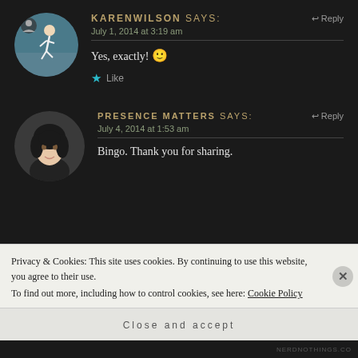KARENWILSON says: July 1, 2014 at 3:19 am — Yes, exactly! 🙂 — Like
PRESENCE MATTERS says: July 4, 2014 at 1:53 am — Bingo. Thank you for sharing.
Privacy & Cookies: This site uses cookies. By continuing to use this website, you agree to their use. To find out more, including how to control cookies, see here: Cookie Policy
Close and accept